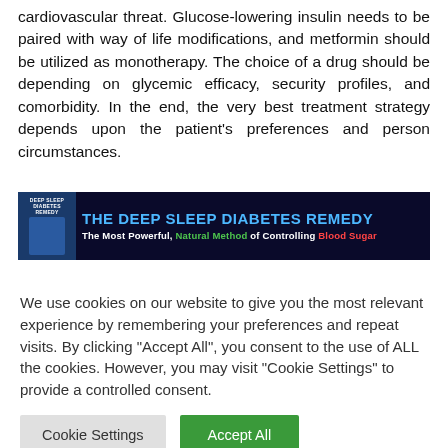cardiovascular threat. Glucose-lowering insulin needs to be paired with way of life modifications, and metformin should be utilized as monotherapy. The choice of a drug should be depending on glycemic efficacy, security profiles, and comorbidity. In the end, the very best treatment strategy depends upon the patient's preferences and person circumstances.
[Figure (other): Advertisement banner for 'The Deep Sleep Diabetes Remedy' showing the book cover on a dark navy background with the text 'The Most Powerful, Natural Method of Controlling Blood Sugar']
We use cookies on our website to give you the most relevant experience by remembering your preferences and repeat visits. By clicking "Accept All", you consent to the use of ALL the cookies. However, you may visit "Cookie Settings" to provide a controlled consent.